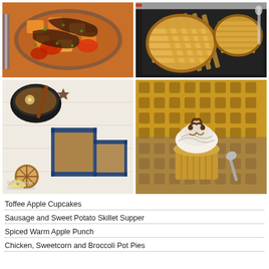[Figure (photo): Top-left food photo: Sausage and sweet potato skillet supper with colorful vegetables in a pan]
[Figure (photo): Top-right food photo: Chicken, sweetcorn and broccoli pot pies with lattice pastry tops on a dark baking tray]
[Figure (photo): Bottom-left food photo: Spiced warm apple punch in black and white enamel mugs with cinnamon sticks, spices, apple slices and stroopwafels. Watermark: Katie Bryson for Parentdish.co.uk]
[Figure (photo): Bottom-right food photo: Toffee apple cupcake with cream frosting and pretzel decoration on a golden patterned cloth with a spoon]
Toffee Apple Cupcakes
Sausage and Sweet Potato Skillet Supper
Spiced Warm Apple Punch
Chicken, Sweetcorn and Broccoli Pot Pies